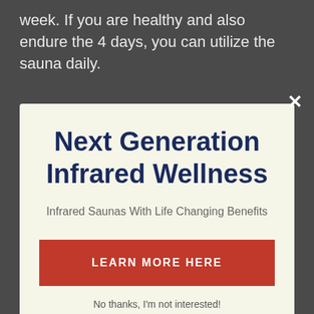week. If you are healthy and also endure the 4 days, you can utilize the sauna daily.
Next Generation Infrared Wellness
Infrared Saunas With Life Changing Benefits
LEARN MORE HERE
No thanks, I'm not interested!
If you feel unwell or have a fever, it's ideal to wait to utilize the sauna up until you're feeling better. Utilizing an infrared sauna will cause you to sweat a great deal, so you may really feel lightheaded